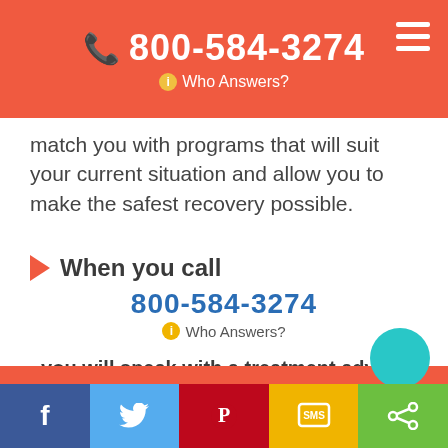800-584-3274 Who Answers?
match you with programs that will suit your current situation and allow you to make the safest recovery possible.
When you call
800-584-3274 Who Answers?
, you will speak with a treatment advisor. They will need to gather information about your current situation, including
Your insurance plan and provider
Facebook Twitter Pinterest SMS Share